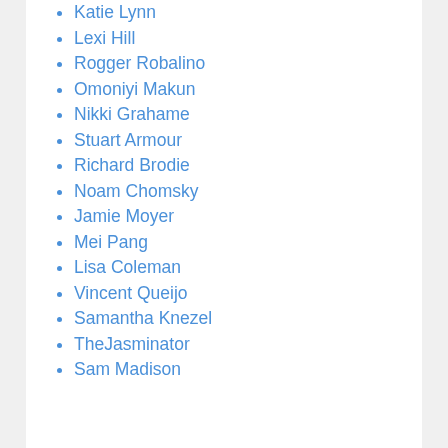Katie Lynn
Lexi Hill
Rogger Robalino
Omoniyi Makun
Nikki Grahame
Stuart Armour
Richard Brodie
Noam Chomsky
Jamie Moyer
Mei Pang
Lisa Coleman
Vincent Queijo
Samantha Knezel
TheJasminator
Sam Madison